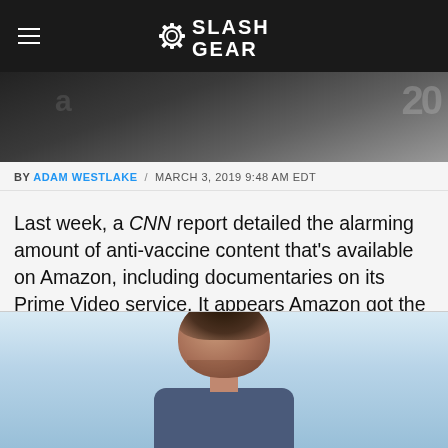SlashGear
[Figure (photo): Partial photo showing dark background with partial text/numbers visible, appears to be an Amazon box or product packaging]
BY ADAM WESTLAKE / MARCH 3, 2019 9:48 AM EDT
Last week, a CNN report detailed the alarming amount of anti-vaccine content that's available on Amazon, including documentaries on its Prime Video service. It appears Amazon got the message and is acting quickly to address the situation, as only days later the company has starting pulling the video content from Prime.
[Figure (photo): Partial photo of a man with dark hair, appearing to look downward, wearing a blue/grey shirt. Light blue background.]